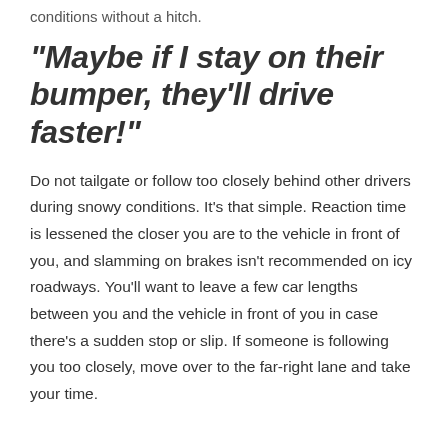conditions without a hitch.
“Maybe if I stay on their bumper, they’ll drive faster!”
Do not tailgate or follow too closely behind other drivers during snowy conditions. It’s that simple. Reaction time is lessened the closer you are to the vehicle in front of you, and slamming on brakes isn’t recommended on icy roadways. You’ll want to leave a few car lengths between you and the vehicle in front of you in case there’s a sudden stop or slip. If someone is following you too closely, move over to the far-right lane and take your time.